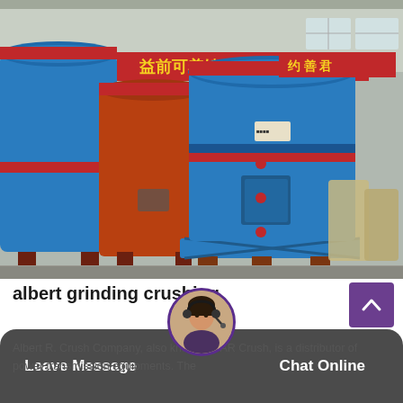[Figure (photo): Industrial grinding/crushing machines in a factory warehouse. Large blue cylindrical mill machines with red accent rings and an orange/red machine behind them. Chinese banners visible in the background. Concrete floor, steel structure roof.]
albert grinding crushing
Albert R. Crush Company, also known as AR Crush, is a distributor of power transmission equipments. The
Leave Message
Chat Online